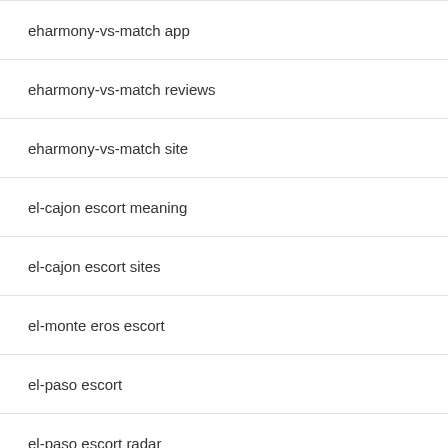| eharmony-vs-match app |
| eharmony-vs-match reviews |
| eharmony-vs-match site |
| el-cajon escort meaning |
| el-cajon escort sites |
| el-monte eros escort |
| el-paso escort |
| el-paso escort radar |
| electronic payday loans |
| elgin escort listings |
| elgin escort sites |